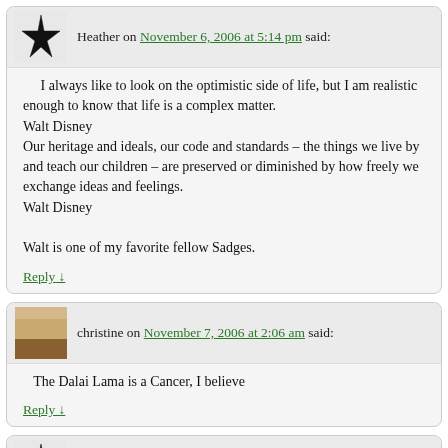Heather on November 6, 2006 at 5:14 pm said:
I always like to look on the optimistic side of life, but I am realistic enough to know that life is a complex matter.
Walt Disney
Our heritage and ideals, our code and standards – the things we live by and teach our children – are preserved or diminished by how freely we exchange ideas and feelings.
Walt Disney

Walt is one of my favorite fellow Sadges.
Reply ↓
christine on November 7, 2006 at 2:06 am said:
The Dalai Lama is a Cancer, I believe
Reply ↓
CK on November 8, 2006 at 12:37 pm said:
I like what Jennifer Aniston said re: her ex when he posed as husband-wife team with Angelina before their divorce was final: 'Somehow he's missing a sensitivity chip.'